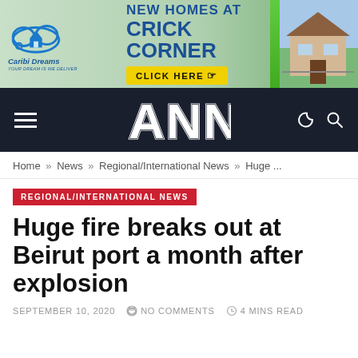[Figure (illustration): Advertisement banner for Caribi Dreams real estate: 'NEW HOMES AT CRICK CORNER' with cloud logo, CLICK HERE button, and house photo]
ANN
Home » News » Regional/International News » Huge ...
REGIONAL/INTERNATIONAL NEWS
Huge fire breaks out at Beirut port a month after explosion
SEPTEMBER 10, 2020   NO COMMENTS   4 MINS READ